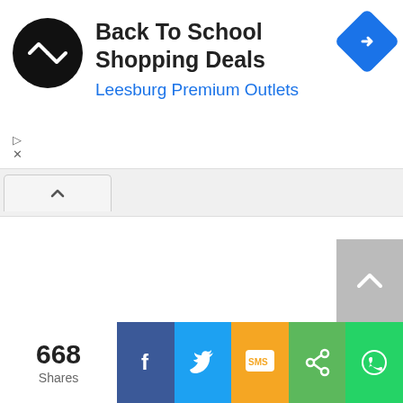[Figure (screenshot): Advertisement banner for Back To School Shopping Deals at Leesburg Premium Outlets, with a circular black logo with double arrow icon, a blue diamond navigation icon on the right, and play/close controls below the logo.]
[Figure (screenshot): Browser tab bar showing a single open tab with an up-arrow (collapse) icon on a light grey background.]
[Figure (screenshot): Main white content area of a webpage, largely blank/white. A grey scroll-to-top button with an up-arrow is visible on the right side.]
668
Shares
[Figure (infographic): Social sharing bar with five buttons: Facebook (blue, f icon), Twitter (light blue, bird icon), SMS (yellow/orange, SMS icon), Share (green, share icon), WhatsApp (bright green, phone icon).]